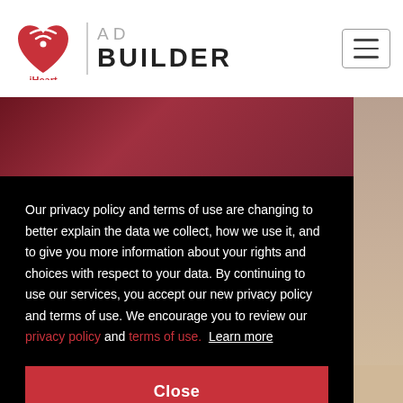iHeart | AD BUILDER
[Figure (screenshot): iHeart Ad Builder website screenshot showing privacy policy modal overlay on top of a page with a person in red clothing. The modal has white text on black background with red hyperlinks and a red Close button.]
Our privacy policy and terms of use are changing to better explain the data we collect, how we use it, and to give you more information about your rights and choices with respect to your data. By continuing to use our services, you accept our new privacy policy and terms of use. We encourage you to review our privacy policy and terms of use.  Learn more
Close